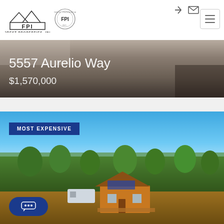[Figure (logo): FPI Forest Properties Inc. logo with mountain/roof graphic and circular FPI badge]
[Figure (photo): Hero banner showing property address on dark textured background]
5557 Aurelio Way
$1,570,000
[Figure (photo): Aerial photo of property with cabin/house surrounded by pine forest, blue sky. Badge reads MOST EXPENSIVE]
MOST EXPENSIVE